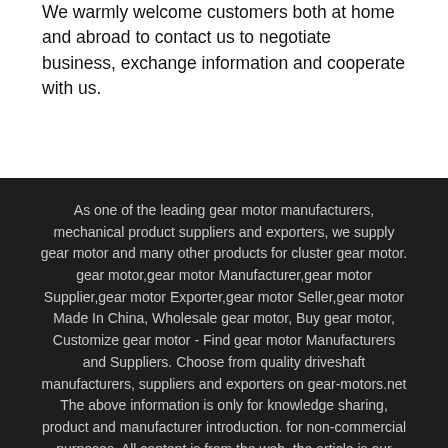We warmly welcome customers both at home and abroad to contact us to negotiate business, exchange information and cooperate with us.
As one of the leading gear motor manufacturers, mechanical product suppliers and exporters, we supply gear motor and many other products for cluster gear motor. gear motor,gear motor Manufacturer,gear motor Supplier,gear motor Exporter,gear motor Seller,gear motor Made In China, Wholesale gear motor, Buy gear motor, Customize gear motor - Find gear motor Manufacturers and Suppliers. Choose from quality driveshaft manufacturers, suppliers and exporters on gear-motors.net The above information is only for knowledge sharing, product and manufacturer introduction. for non-commercial purposes. All content is from the web, the article is our opinion if